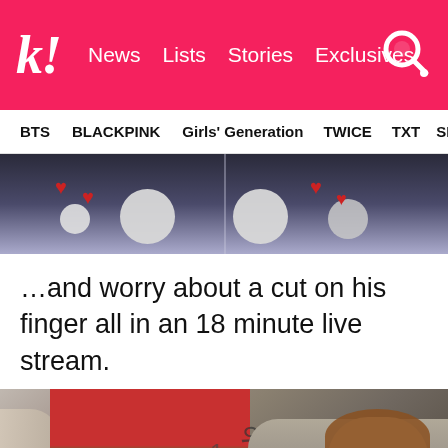k! News  Lists  Stories  Exclusives
BTS  BLACKPINK  Girls' Generation  TWICE  TXT  SEVE
[Figure (photo): Photo showing what appears to be a fan sign or event with hearts visible, split-screen style]
…and worry about a cut on his finger all in an 18 minute live stream.
[Figure (photo): Photo of two young men wearing face masks, one with red cap and brown jacket, another with gray sweater, indoors]